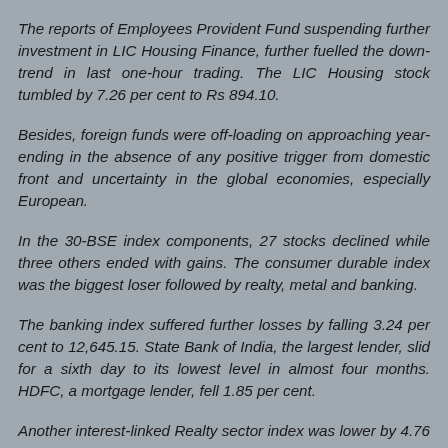The reports of Employees Provident Fund suspending further investment in LIC Housing Finance, further fuelled the down-trend in last one-hour trading. The LIC Housing stock tumbled by 7.26 per cent to Rs 894.10.
Besides, foreign funds were off-loading on approaching year-ending in the absence of any positive trigger from domestic front and uncertainty in the global economies, especially European.
In the 30-BSE index components, 27 stocks declined while three others ended with gains. The consumer durable index was the biggest loser followed by realty, metal and banking.
The banking index suffered further losses by falling 3.24 per cent to 12,645.15. State Bank of India, the largest lender, slid for a sixth day to its lowest level in almost four months. HDFC, a mortgage lender, fell 1.85 per cent.
Another interest-linked Realty sector index was lower by 4.76 per cent to 2,704.95, on fears that the RBI's policy rate changes might impact the sale of houses and